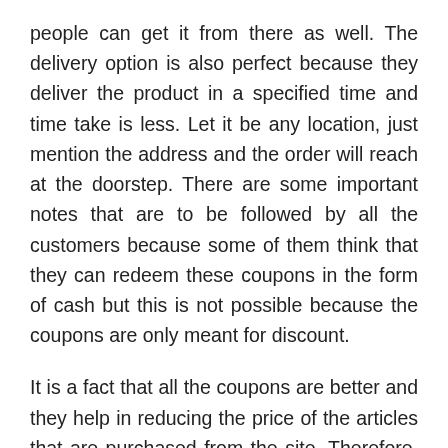people can get it from there as well. The delivery option is also perfect because they deliver the product in a specified time and time take is less. Let it be any location, just mention the address and the order will reach at the doorstep. There are some important notes that are to be followed by all the customers because some of them think that they can redeem these coupons in the form of cash but this is not possible because the coupons are only meant for discount.
It is a fact that all the coupons are better and they help in reducing the price of the articles that are purchased from the site. Therefore, be specific in terms of shopping and obtain the coupon from the sites that are real and this can be maintained